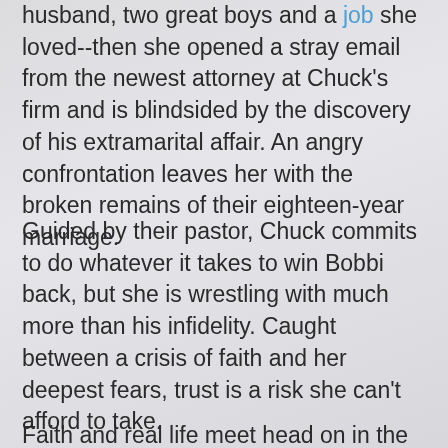husband, two great boys and a job she loved--then she opened a stray email from the newest attorney at Chuck's firm and is blindsided by the discovery of his extramarital affair. An angry confrontation leaves her with the broken remains of their eighteen-year marriage.
Guided by their pastor, Chuck commits to do whatever it takes to win Bobbi back, but she is wrestling with much more than his infidelity. Caught between a crisis of faith and her deepest fears, trust is a risk she can't afford to take.
Faith and real life meet head on in the